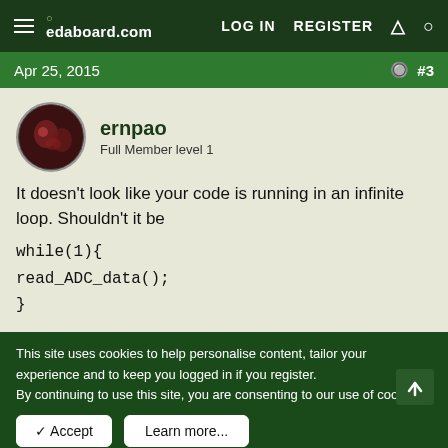edaboard.com | LOG IN | REGISTER
Apr 25, 2015  #3
ernpao
Full Member level 1
It doesn't look like your code is running in an infinite loop. Shouldn't it be

while(1){
read_ADC_data();
}
This site uses cookies to help personalise content, tailor your experience and to keep you logged in if you register.
By continuing to use this site, you are consenting to our use of cookies.
✓ Accept  Learn more...